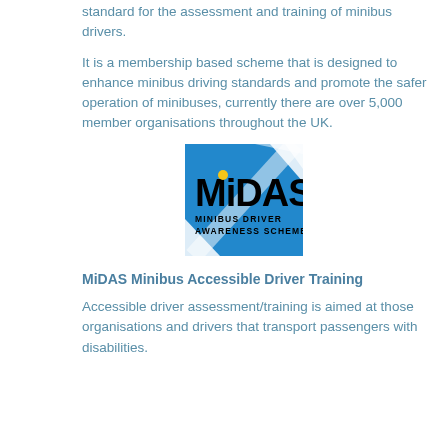standard for the assessment and training of minibus drivers.
It is a membership based scheme that is designed to enhance minibus driving standards and promote the safer operation of minibuses, currently there are over 5,000 member organisations throughout the UK.
[Figure (logo): MiDAS Minibus Driver Awareness Scheme logo - blue square background with diagonal white stripe, bold black text reading MiDAS with yellow dot on i, subtitle MINIBUS DRIVER AWARENESS SCHEME]
MiDAS Minibus Accessible Driver Training
Accessible driver assessment/training is aimed at those organisations and drivers that transport passengers with disabilities.